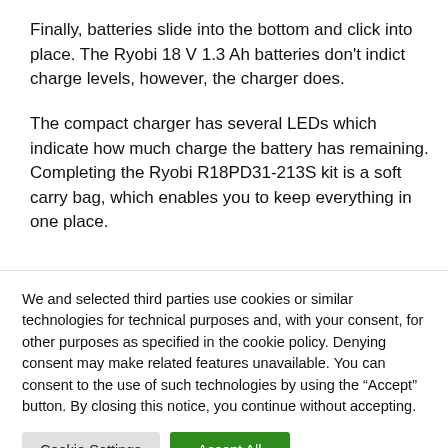Finally, batteries slide into the bottom and click into place. The Ryobi 18 V 1.3 Ah batteries don't indict charge levels, however, the charger does.
The compact charger has several LEDs which indicate how much charge the battery has remaining. Completing the Ryobi R18PD31-213S kit is a soft carry bag, which enables you to keep everything in one place.
We and selected third parties use cookies or similar technologies for technical purposes and, with your consent, for other purposes as specified in the cookie policy. Denying consent may make related features unavailable. You can consent to the use of such technologies by using the “Accept” button. By closing this notice, you continue without accepting.